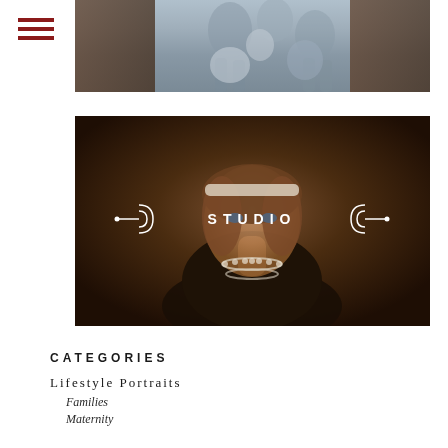[Figure (photo): Partial view of a family photo showing people standing near a door, cropped at top]
[Figure (photo): Studio portrait of a woman wearing a lace headband and pearl necklace, with overlay text STUDIO and decorative ornaments]
CATEGORIES
Lifestyle Portraits
Families
Maternity